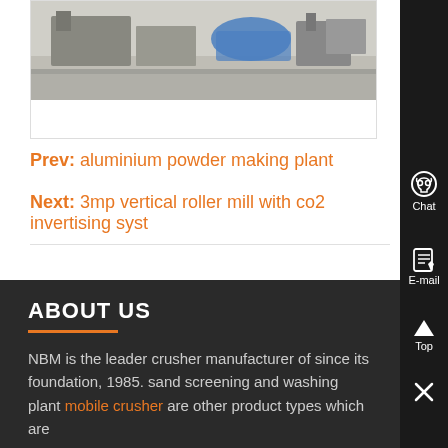[Figure (photo): Partial view of industrial machinery/equipment outdoors, showing metal components and a blue tarp.]
Prev: aluminium powder making plant
Next: 3mp vertical roller mill with co2 invertising syst
ABOUT US
NBM is the leader crusher manufacturer of since its foundation, 1985. sand screening and washing plant mobile crusher are other product types which are